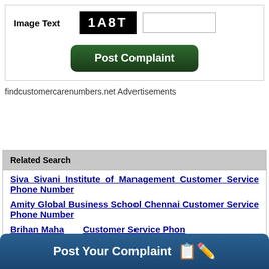[Figure (screenshot): Captcha image showing text '1A8T' in white on black background]
Image Text
[Figure (screenshot): Post Complaint green button]
findcustomercarenumbers.net Advertisements
Related Search
Siva Sivani Institute of Management Customer Service Phone Number
Amity Global Business School Chennai Customer Service Phone Number
Brihan Maharashtra Customer Service Phone
[Figure (screenshot): Post Your Complaint banner button at bottom]